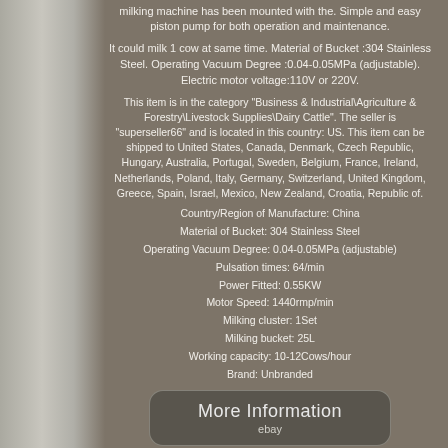milking machine has been mounted with the. Simple and easy piston pump for both operation and maintenance.
It could milk 1 cow at same time. Material of Bucket :304 Stainless Steel. Operating Vacuum Degree :0.04-0.05MPa (adjustable). Electric motor voltage:110V or 220V.
This item is in the category "Business & Industrial\Agriculture & Forestry\Livestock Supplies\Dairy Cattle". The seller is "superseller66" and is located in this country: US. This item can be shipped to United States, Canada, Denmark, Czech Republic, Hungary, Australia, Portugal, Sweden, Belgium, France, Ireland, Netherlands, Poland, Italy, Germany, Switzerland, United Kingdom, Greece, Spain, Israel, Mexico, New Zealand, Croatia, Republic of.
Country/Region of Manufacture: China
Material of Bucket: 304 Stainless Steel
Operating Vacuum Degree: 0.04-0.05MPa (adjustable)
Pulsation times: 64/min
Power Fitted: 0.55KW
Motor Speed: 1440rmp/min
Milking cluster: 1Set
Milking bucket: 25L
Working capacity: 10-12Cows/hour
Brand: Unbranded
[Figure (other): Button linking to More Information on eBay]
[Figure (other): Button linking to View Price on eBay]